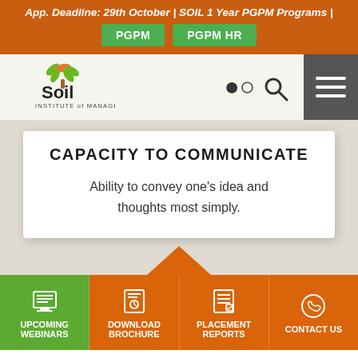App. Deadline: 29th October | SOIL 1 Year PGPM Programs | PGPM  PGPM HR
[Figure (logo): SOIL Institute of Management logo with tree graphic]
CAPACITY TO COMMUNICATE
Ability to convey one's idea and thoughts most simply.
UPCOMING WEBINARS | DOWNLOAD BROCHURE | PLACEMENT REPORTS | CONTACT US